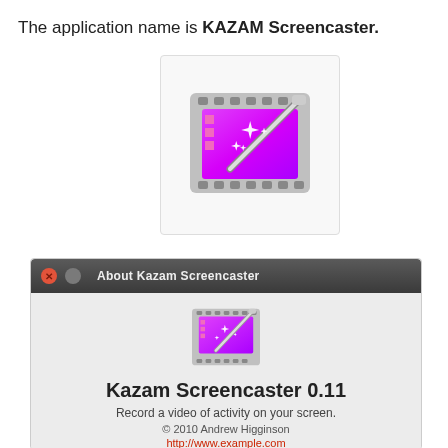The application name is KAZAM Screencaster.
[Figure (logo): Kazam Screencaster application icon: a film strip with a magenta/pink gradient background and a magic wand with sparkles, rendered in a square white box with light border.]
[Figure (screenshot): Screenshot of the 'About Kazam Screencaster' dialog window on Ubuntu. Dark titlebar with close (orange-red) and minimize (gray) buttons, showing title 'About Kazam Screencaster'. Below: the Kazam icon, bold text 'Kazam Screencaster 0.11', subtitle 'Record a video of activity on your screen.', copyright '© 2010 Andrew Higginson', and a partially visible red link at the bottom.]